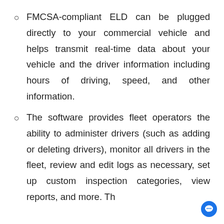FMCSA-compliant ELD can be plugged directly to your commercial vehicle and helps transmit real-time data about your vehicle and the driver information including hours of driving, speed, and other information.
The software provides fleet operators the ability to administer drivers (such as adding or deleting drivers), monitor all drivers in the fleet, review and edit logs as necessary, set up custom inspection categories, view reports, and more. Th